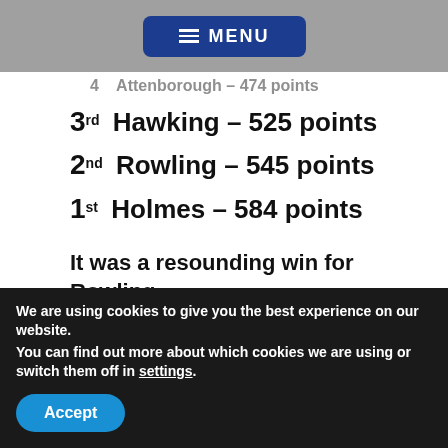MENU
4  Attenborough – 474 points
3rd  Hawking – 525 points
2nd  Rowling – 545 points
1st  Holmes – 584 points
It was a resounding win for Rowling and some much needed points for the
We are using cookies to give you the best experience on our website.
You can find out more about which cookies we are using or switch them off in settings.